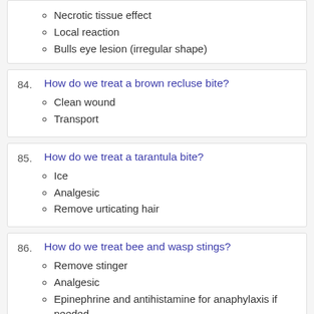Necrotic tissue effect
Local reaction
Bulls eye lesion (irregular shape)
84. How do we treat a brown recluse bite?
Clean wound
Transport
85. How do we treat a tarantula bite?
Ice
Analgesic
Remove urticating hair
86. How do we treat bee and wasp stings?
Remove stinger
Analgesic
Epinephrine and antihistamine for anaphylaxis if needed